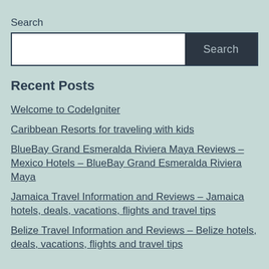Search
[Figure (screenshot): Search input box with white text field and dark 'Search' button]
Recent Posts
Welcome to CodeIgniter
Caribbean Resorts for traveling with kids
BlueBay Grand Esmeralda Riviera Maya Reviews – Mexico Hotels – BlueBay Grand Esmeralda Riviera Maya
Jamaica Travel Information and Reviews – Jamaica hotels, deals, vacations, flights and travel tips
Belize Travel Information and Reviews – Belize hotels, deals, vacations, flights and travel tips